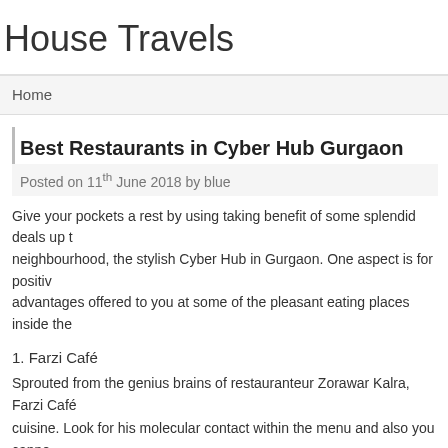House Travels
Home
Best Restaurants in Cyber Hub Gurgaon
Posted on 11th June 2018 by blue
Give your pockets a rest by using taking benefit of some splendid deals up to neighbourhood, the stylish Cyber Hub in Gurgaon. One aspect is for positive advantages offered to you at some of the pleasant eating places inside the
1. Farzi Café
Sprouted from the genius brains of restauranteur Zorawar Kalra, Farzi Café cuisine. Look for his molecular contact within the menu and also you cannot and cheesecake fabricated from glucose biscuits are relatively encouraged.
Cost for 2: Rs. 1800
Location: 8, Ground Floor, Cyber Hub
2. Indigo Delicatessen